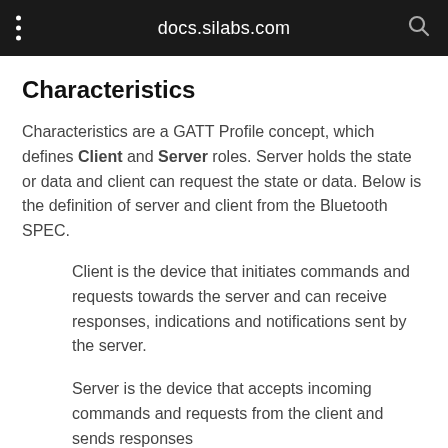docs.silabs.com
Characteristics
Characteristics are a GATT Profile concept, which defines Client and Server roles. Server holds the state or data and client can request the state or data. Below is the definition of server and client from the Bluetooth SPEC.
Client is the device that initiates commands and requests towards the server and can receive responses, indications and notifications sent by the server.
Server is the device that accepts incoming commands and requests from the client and sends responses